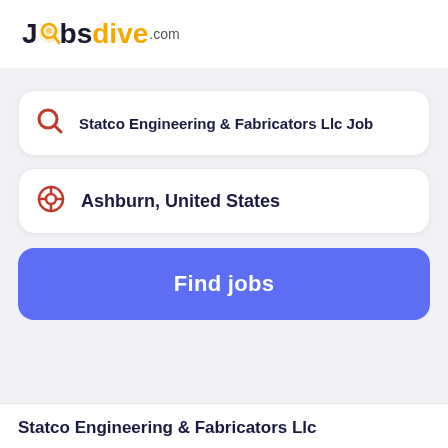[Figure (logo): Jobsdive.com logo with magnifying glass icon replacing the 'o' in Jobs, 'Jobs' in dark navy, 'dive' in orange/yellow, '.com' in gray]
Statco Engineering & Fabricators Llc Job
Ashburn, United States
Find jobs
Statco Engineering & Fabricators Llc